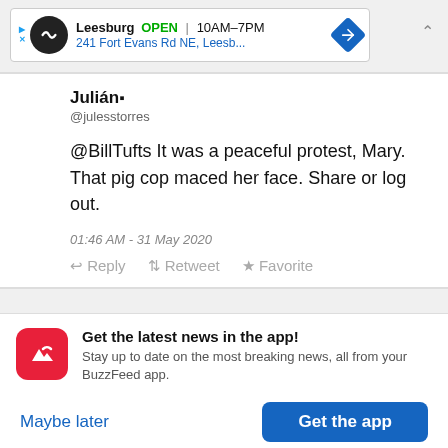[Figure (screenshot): Advertisement banner for Leesburg store showing OPEN status, hours 10AM-7PM, address 241 Fort Evans Rd NE, Leesb..., navigation icon]
Julián- @julesstorres
@BillTufts It was a peaceful protest, Mary. That pig cop maced her face. Share or log out.
01:46 AM - 31 May 2020
Reply Retweet Favorite
[Figure (screenshot): BuzzFeed app notification banner: Get the latest news in the app! Stay up to date on the most breaking news, all from your BuzzFeed app. Maybe later | Get the app buttons]